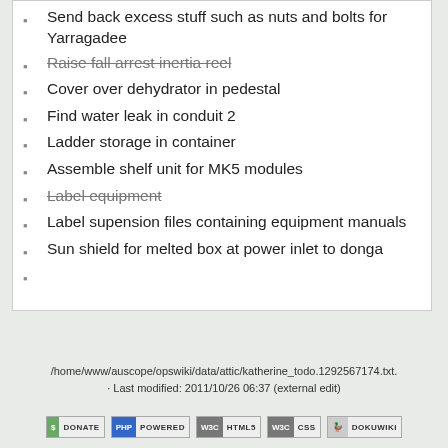Send back excess stuff such as nuts and bolts for Yarragadee
Raise fall arrest inertia reel (strikethrough)
Cover over dehydrator in pedestal
Find water leak in conduit 2
Ladder storage in container
Assemble shelf unit for MK5 modules
Label equipment (strikethrough)
Label supension files containing equipment manuals
Sun shield for melted box at power inlet to donga
/home/www/auscope/opswiki/data/attic/katherine_todo.1292567174.txt. · Last modified: 2011/10/26 06:37 (external edit)